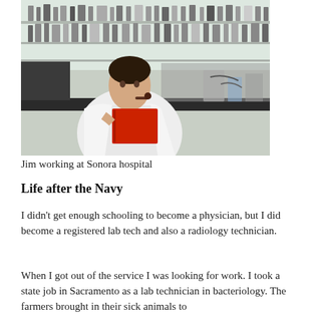[Figure (photo): A man in a white lab coat holding a red folder, standing in a hospital laboratory with shelves of bottles and equipment in the background.]
Jim working at Sonora hospital
Life after the Navy
I didn't get enough schooling to become a physician, but I did become a registered lab tech and also a radiology technician.
When I got out of the service I was looking for work. I took a state job in Sacramento as a lab technician in bacteriology. The farmers brought in their sick animals to